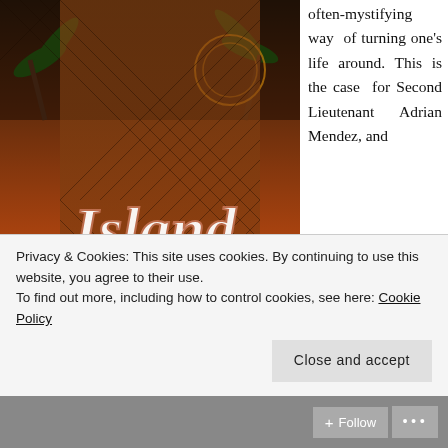[Figure (illustration): Book cover for 'Island Pursuits' by Heather Rodney-Diaz. Features a woman in fishnet top against a tropical sunset backdrop with palm trees. The title 'Island Pursuits' is in white script lettering. Dog tags hang in the foreground. Author name 'HEATHER RODNEY-DIAZ' appears at the bottom.]
often-mystifying way of turning one's life around. This is the case for Second Lieutenant Adrian Mendez, and
Privacy & Cookies: This site uses cookies. By continuing to use this website, you agree to their use.
To find out more, including how to control cookies, see here: Cookie Policy
Close and accept
Follow